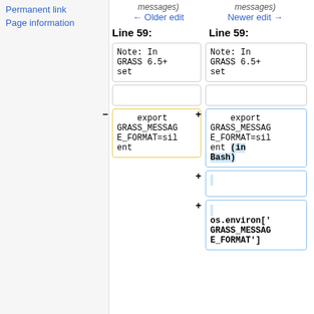Permanent link
Page information
messages) ← Older edit
messages) Newer edit →
Line 59:
Line 59:
Note: In GRASS 6.5+ set
Note: In GRASS 6.5+ set
export GRASS_MESSAGE_FORMAT=silent
export GRASS_MESSAGE_FORMAT=silent (in Bash)
os.environ['GRASS_MESSAGE_FORMAT']